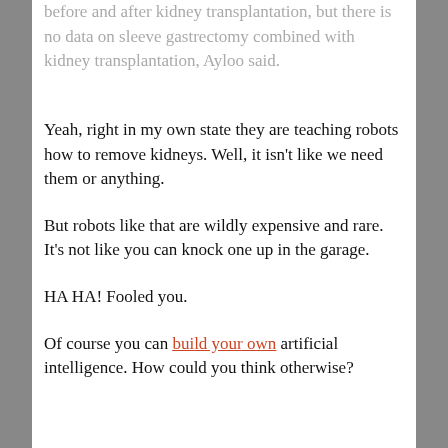before and after kidney transplantation, but there is no data on sleeve gastrectomy combined with kidney transplantation, Ayloo said.
Yeah, right in my own state they are teaching robots how to remove kidneys. Well, it isn't like we need them or anything.
But robots like that are wildly expensive and rare. It's not like you can knock one up in the garage.
HA HA! Fooled you.
Of course you can build your own artificial intelligence. How could you think otherwise?